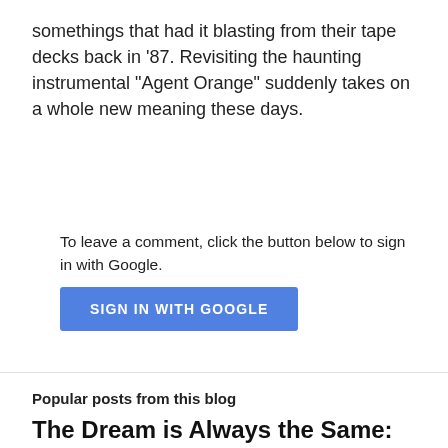somethings that had it blasting from their tape decks back in '87. Revisiting the haunting instrumental "Agent Orange" suddenly takes on a whole new meaning these days.
To leave a comment, click the button below to sign in with Google.
SIGN IN WITH GOOGLE
Popular posts from this blog
The Dream is Always the Same: From Tom Cruise in "Risky Business" to Timothee